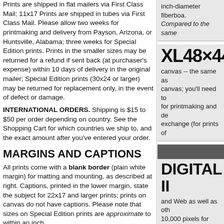Prints are shipped in flat mailers via First Class Mail; 11x17 Prints are shipped in tubes via First Class Mail. Please allow two weeks for printmaking and delivery from Payson, Arizona, or Huntsville, Alabama; three weeks for Special Edition prints. Prints in the smaller sizes may be returned for a refund if sent back (at purchaser's expense) within 10 days of delivery in the original mailer; Special Edition prints (30x24 or larger) may be returned for replacement only, in the event of defect or damage.
INTERNATIONAL ORDERS. Shipping is $15 to $50 per order depending on country. See the Shopping Cart for which countries we ship to, and the exact amount after you've entered your order.
MARGINS AND CAPTIONS
All prints come with a blank border (plain white margin) for matting and mounting, as described at right. Captions, printed in the lower margin, state the subject for 22x17 and larger prints; prints on canvas do not have captions. Please note that sizes on Special Edition prints are approximate to within an inch.
inch-diameter fiberboa. Compared to the same
XL48×44
canvas -- the same as canvas; you'll need to for printmaking and de exchange (for prints of
DIGITAL II
and Web as well as oth 10,000 pixels for +300 free hi-res images or t